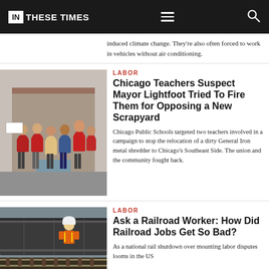IN THESE TIMES
induced climate change. They're also often forced to work in vehicles without air conditioning.
LABOR
Chicago Teachers Suspect Mayor Lightfoot Tried To Fire Them for Opposing a New Scrapyard
Chicago Public Schools targeted two teachers involved in a campaign to stop the relocation of a dirty General Iron metal shredder to Chicago's Southeast Side. The union and the community fought back.
[Figure (photo): Group of people in red shirts standing outside a building, some holding signs, with masks on.]
LABOR
Ask a Railroad Worker: How Did Railroad Jobs Get So Bad?
As a national rail shutdown over mounting labor disputes looms in the US
[Figure (photo): Railroad worker in orange vest and hard hat standing next to a train car.]